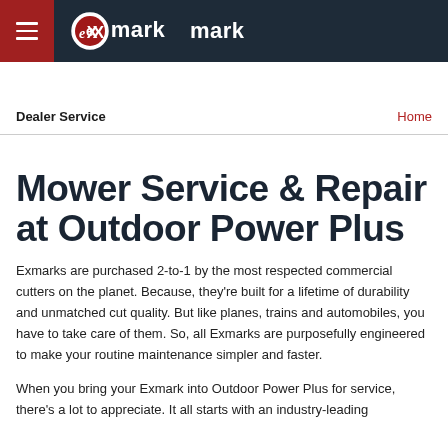eXmark
Dealer Service    Home
Mower Service & Repair at Outdoor Power Plus
Exmarks are purchased 2-to-1 by the most respected commercial cutters on the planet. Because, they're built for a lifetime of durability and unmatched cut quality. But like planes, trains and automobiles, you have to take care of them. So, all Exmarks are purposefully engineered to make your routine maintenance simpler and faster.
When you bring your Exmark into Outdoor Power Plus for service, there's a lot to appreciate. It all starts with an industry-leading